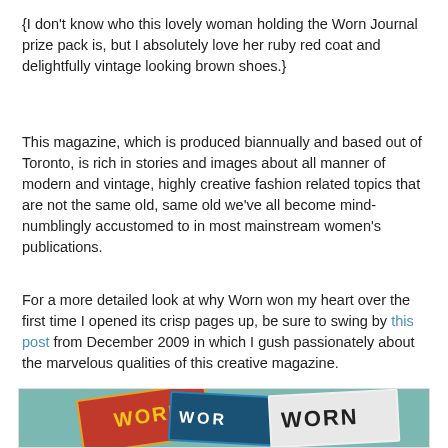{I don't know who this lovely woman holding the Worn Journal prize pack is, but I absolutely love her ruby red coat and delightfully vintage looking brown shoes.}
This magazine, which is produced biannually and based out of Toronto, is rich in stories and images about all manner of modern and vintage, highly creative fashion related topics that are not the same old, same old we've all become mind-numblingly accustomed to in most mainstream women's publications.
For a more detailed look at why Worn won my heart over the first time I opened its crisp pages up, be sure to swing by this post from December 2009 in which I gush passionately about the marvelous qualities of this creative magazine.
[Figure (photo): Photo showing multiple issues of WORN magazine laid out on a teal/green surface, with colorful magazine covers visible]